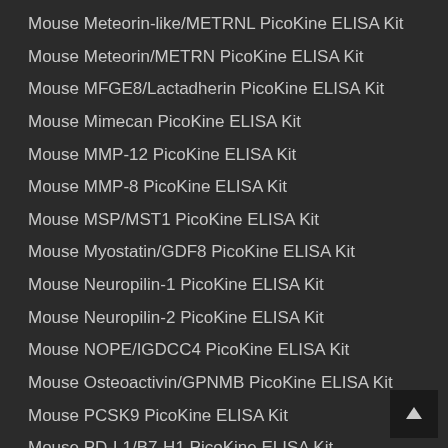Mouse Meteorin-like/METRNL PicoKine ELISA Kit
Mouse Meteorin/METRN PicoKine ELISA Kit
Mouse MFGE8/Lactadherin PicoKine ELISA Kit
Mouse Mimecan PicoKine ELISA Kit
Mouse MMP-12 PicoKine ELISA Kit
Mouse MMP-8 PicoKine ELISA Kit
Mouse MSP/MST1 PicoKine ELISA Kit
Mouse Myostatin/GDF8 PicoKine ELISA Kit
Mouse Neuropilin-1 PicoKine ELISA Kit
Mouse Neuropilin-2 PicoKine ELISA Kit
Mouse NOPE/IGDCC4 PicoKine ELISA Kit
Mouse Osteoactivin/GPNMB PicoKine ELISA Kit
Mouse PCSK9 PicoKine ELISA Kit
Mouse PD-L1/B7-H1 PicoKine ELISA Kit
Mouse PDGF-BB PicoKine ELISA Kit
Mouse Periostin/OSF2 PicoKine ELISA Kit
Mouse Persephin PicoKine ELISA Kit
Mouse PGLYRP1 PicoKine ELISA Kit